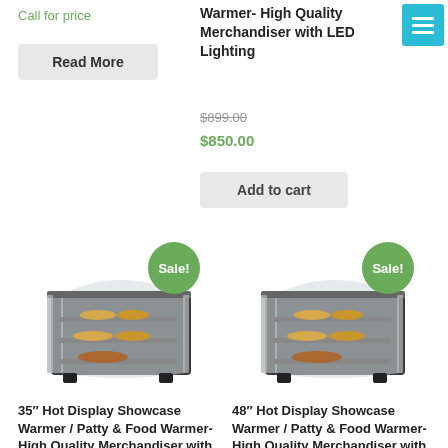Call for price
[Figure (other): Hamburger menu button (cyan/teal background with three white horizontal lines)]
Read More
Warmer- High Quality Merchandiser with LED Lighting
$899.00 (strikethrough)
$850.00
Add to cart
[Figure (photo): 35 inch Hot Display Showcase Warmer with Sale! badge (green circle), food warmer display case with multiple shelves showing food items]
[Figure (photo): 48 inch Hot Display Showcase Warmer with Sale! badge (green circle), food warmer display case with multiple shelves showing food items]
35" Hot Display Showcase Warmer / Patty & Food Warmer- High Quality Merchandiser with
48" Hot Display Showcase Warmer / Patty & Food Warmer- High Quality Merchandiser with